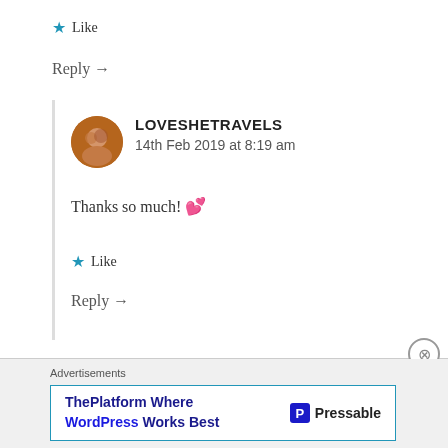★ Like
Reply →
LOVESHETRAVELS
14th Feb 2019 at 8:19 am
Thanks so much! 💕
★ Like
Reply →
Advertisements
ThePlatform Where WordPress Works Best
Pressable